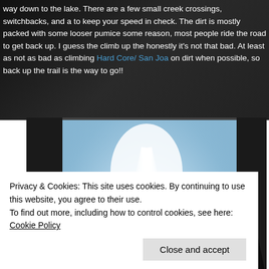way down to the lake. There are a few small creek crossings, switchbacks, and a to keep your speed in check. The dirt is mostly packed with some looser pumice some reason, most people ride the road to get back up. I guess the climb up the honestly it's not that bad. At least as not as bad as climbing Hard Core/ San Joa on dirt when possible, so back up the trail is the way to go!!
[Figure (photo): Upward view through tall conifer trees against a bright blue sky with sunbeams radiating from the center]
Privacy & Cookies: This site uses cookies. By continuing to use this website, you agree to their use.
To find out more, including how to control cookies, see here: Cookie Policy
Close and accept